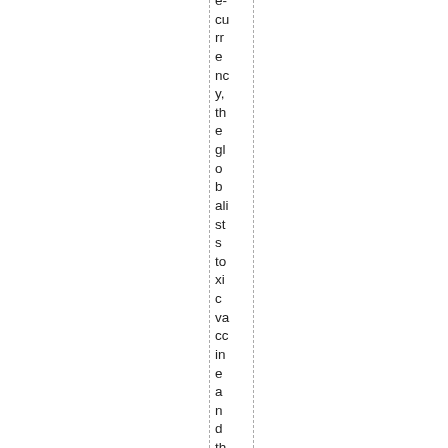e-currency, the globalists toxic vaccine and the Agen...